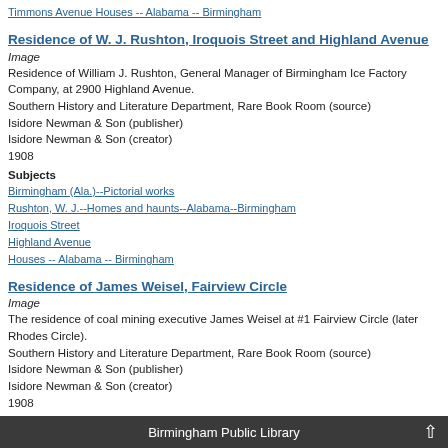Timmons Avenue
Houses -- Alabama -- Birmingham
Residence of W. J. Rushton, Iroquois Street and Highland Avenue
Image
Residence of William J. Rushton, General Manager of Birmingham Ice Factory Company, at 2900 Highland Avenue.
Southern History and Literature Department, Rare Book Room (source)
Isidore Newman & Son (publisher)
Isidore Newman & Son (creator)
1908
Subjects
Birmingham (Ala.)--Pictorial works
Rushton, W. J.--Homes and haunts--Alabama--Birmingham
Iroquois Street
Highland Avenue
Houses -- Alabama -- Birmingham
Residence of James Weisel, Fairview Circle
Image
The residence of coal mining executive James Weisel at #1 Fairview Circle (later Rhodes Circle).
Southern History and Literature Department, Rare Book Room (source)
Isidore Newman & Son (publisher)
Isidore Newman & Son (creator)
1908
Subjects
Birmingham (Ala.)--Pictorial works
Birmingham Public Library